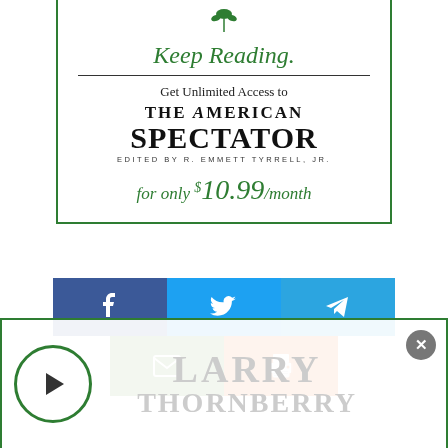[Figure (infographic): Subscription advertisement box for The American Spectator with green border, showing 'Keep Reading.' heading, 'Get Unlimited Access to THE AMERICAN SPECTATOR EDITED BY R. EMMETT TYRRELL, JR.' and price 'for only $10.99/month']
[Figure (infographic): Social share buttons: Facebook (dark blue), Twitter (light blue), Telegram (sky blue), Email (green), Print (orange)]
[Figure (infographic): Bottom overlay card with green border, play button circle on left, large greyed-out text reading 'LARRY THORNBERRY', and a close (X) button in top-right corner]